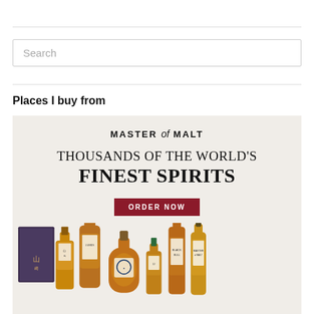Search
Places I buy from
[Figure (illustration): Master of Malt advertisement banner showing the text 'MASTER of MALT', 'THOUSANDS OF THE WORLD'S FINEST SPIRITS', an 'ORDER NOW' button, and several whisky bottles on a cream/beige background.]